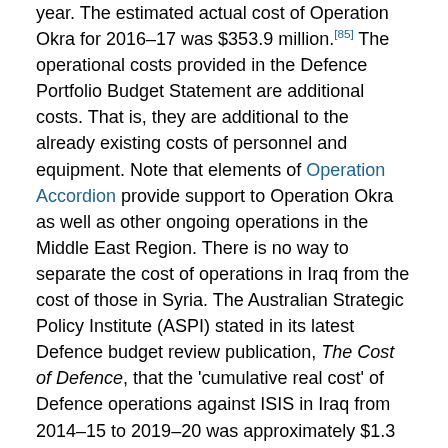year. The estimated actual cost of Operation Okra for 2016–17 was $353.9 million.[85] The operational costs provided in the Defence Portfolio Budget Statement are additional costs. That is, they are additional to the already existing costs of personnel and equipment. Note that elements of Operation Accordion provide support to Operation Okra as well as other ongoing operations in the Middle East Region. There is no way to separate the cost of operations in Iraq from the cost of those in Syria. The Australian Strategic Policy Institute (ASPI) stated in its latest Defence budget review publication, The Cost of Defence, that the 'cumulative real cost' of Defence operations against ISIS in Iraq from 2014–15 to 2019–20 was approximately $1.3 billion.[86]
The OIR website notes that as at 30 June 2017, the total cost of US operations related to ISIS since kinetic operations started in August 2014, is US$14.3 billion. The average daily cost over 1,058 days of operations is US$13.6 million.[87]